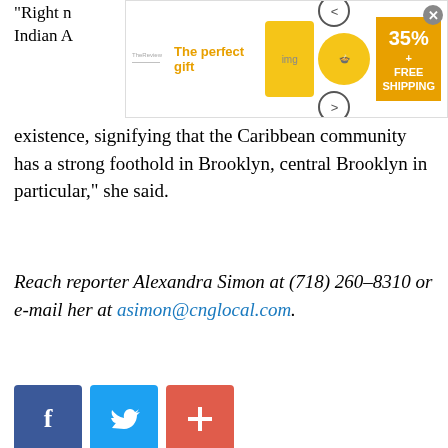[Figure (screenshot): Advertisement banner showing 'The perfect gift' with a bowl image, navigation arrows, and '35% FREE SHIPPING' promotion with close button]
“Right n… West Indian A…
existence, signifying that the Caribbean community has a strong foothold in Brooklyn, central Brooklyn in particular,” she said.
Reach reporter Alexandra Simon at (718) 260–8310 or e-mail her at asimon@cnglocal.com.
[Figure (other): Social share buttons: Facebook (blue), Twitter (light blue), and a red plus/share button]
COMMENTS
Log in | Sign up
Sections | Jobs | Home Pros | Games | Contact